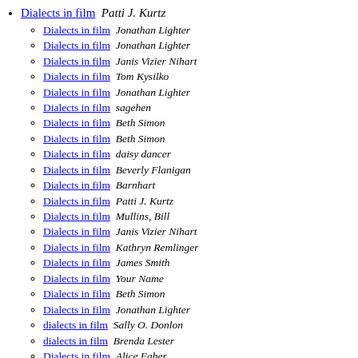Dialects in film  Patti J. Kurtz
Dialects in film  Jonathan Lighter
Dialects in film  Jonathan Lighter
Dialects in film  Janis Vizier Nihart
Dialects in film  Tom Kysilko
Dialects in film  Jonathan Lighter
Dialects in film  sagehen
Dialects in film  Beth Simon
Dialects in film  Beth Simon
Dialects in film  daisy dancer
Dialects in film  Beverly Flanigan
Dialects in film  Barnhart
Dialects in film  Patti J. Kurtz
Dialects in film  Mullins, Bill
Dialects in film  Janis Vizier Nihart
Dialects in film  Kathryn Remlinger
Dialects in film  James Smith
Dialects in film  Your Name
Dialects in film  Beth Simon
Dialects in film  Jonathan Lighter
dialects in film  Sally O. Donlon
dialects in film  Brenda Lester
Dialects in film  Alice Faber
Dialects in film  Your Name
Dialects in film  Ray Villegas